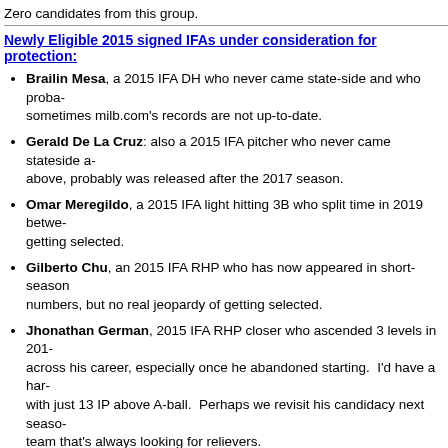Zero candidates from this group.
Newly Eligible 2015 signed IFAs under consideration for protection:
Brailin Mesa, a 2015 IFA DH who never came state-side and who proba-bably sometimes milb.com's records are not up-to-date.
Gerald De La Cruz: also a 2015 IFA pitcher who never came stateside a- above, probably was released after the 2017 season.
Omar Meregildo, a 2015 IFA light hitting 3B who split time in 2019 betwe- getting selected.
Gilberto Chu, an 2015 IFA RHP who has now appeared in short-season numbers, but no real jeopardy of getting selected.
Jhonathan German, 2015 IFA RHP closer who ascended 3 levels in 201- across his career, especially once he abandoned starting. I'd have a har- with just 13 IP above A-ball. Perhaps we revisit his candidacy next seaso- team that's always looking for relievers.
Felix Taveras, 2015 IFA now age 24, missed all of 2018 and threw just a 2019. Not getting picked.
Tomas Alastre: 2015 IFA RHP starting pitcher who, inexplicably to me, h- for two full seasons running despite his posting an ERA north of 5.00 con- a case where the team is just keeping him around to eat innings? I can't arms getting drafted each year. That being said, he's only 21, so he's st- eligible, but he's at no risk of getting picked in 2019's rule-5 draft.